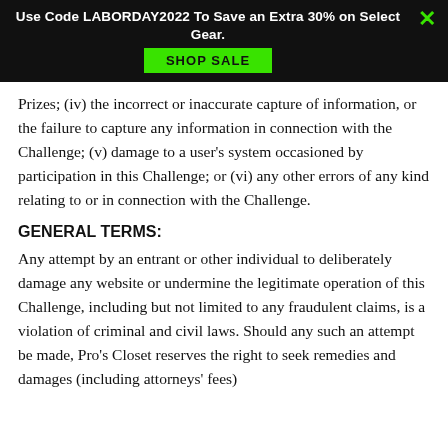Use Code LABORDAY2022 To Save an Extra 30% on Select Gear. SHOP SALE
Prizes; (iv) the incorrect or inaccurate capture of information, or the failure to capture any information in connection with the Challenge; (v) damage to a user's system occasioned by participation in this Challenge; or (vi) any other errors of any kind relating to or in connection with the Challenge.
GENERAL TERMS:
Any attempt by an entrant or other individual to deliberately damage any website or undermine the legitimate operation of this Challenge, including but not limited to any fraudulent claims, is a violation of criminal and civil laws. Should any such an attempt be made, Pro's Closet reserves the right to seek remedies and damages (including attorneys' fees)